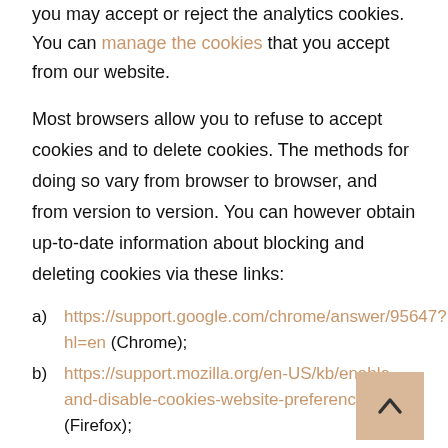you may accept or reject the analytics cookies. You can manage the cookies that you accept from our website.
Most browsers allow you to refuse to accept cookies and to delete cookies. The methods for doing so vary from browser to browser, and from version to version. You can however obtain up-to-date information about blocking and deleting cookies via these links:
a) https://support.google.com/chrome/answer/95647?hl=en (Chrome);
b) https://support.mozilla.org/en-US/kb/enable-and-disable-cookies-website-preferences (Firefox);
c) http://www.opera.com/help/tutorials/security/cookies/ (Opera);
d) https://support.microsoft.com/en-gb/help/17442/windows-internet-explorer-delete-